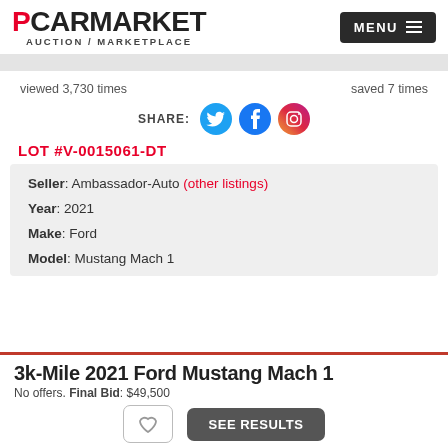[Figure (logo): PCarMarket logo with red P and black CARMARKET text, AUCTION / MARKETPLACE subtitle]
[Figure (other): Dark MENU button with hamburger icon in top right]
viewed 3,730 times
saved 7 times
SHARE:
[Figure (other): Twitter, Facebook, Instagram social share icons]
LOT #V-0015061-DT
Seller: Ambassador-Auto (other listings)
Year: 2021
Make: Ford
Model: Mustang Mach 1
3k-Mile 2021 Ford Mustang Mach 1
No offers. Final Bid: $49,500